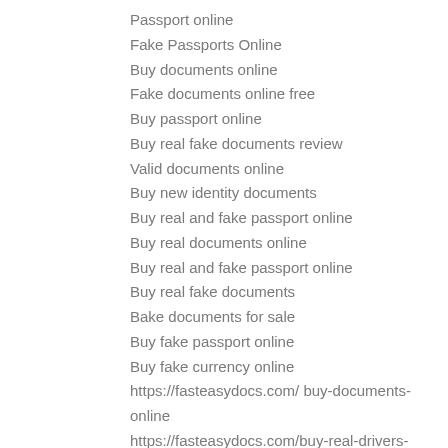Passport online
Fake Passports Online
Buy documents online
Fake documents online free
Buy passport online
Buy real fake documents review
Valid documents online
Buy new identity documents
Buy real and fake passport online
Buy real documents online
Buy real and fake passport online
Buy real fake documents
Bake documents for sale
Buy fake passport online
Buy fake currency online
https://fasteasydocs.com/ buy-documents-online
https://fasteasydocs.com/buy-real-drivers-license-online/
https://fasteasydocs.com